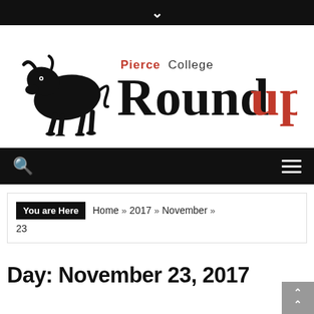Pierce College Roundup - navigation header with chevron, logo, search and menu
[Figure (logo): Pierce College Roundup logo with black bull silhouette and stylized text: 'Pierce College' in small text above 'RoundUp' in large serif font, 'Round' in black and 'UP' in red]
You are Here   Home » 2017 » November » 23
Day: November 23, 2017